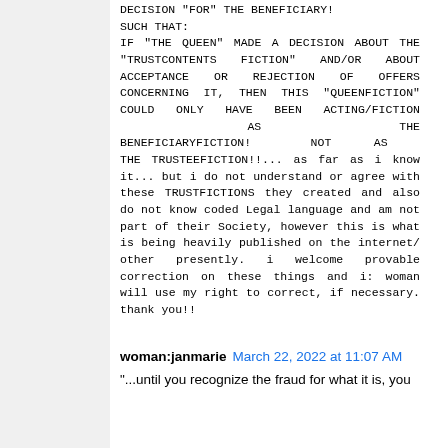DECISION "FOR" THE BENEFICIARY! SUCH THAT: IF "THE QUEEN" MADE A DECISION ABOUT THE "TRUSTCONTENTS FICTION" AND/OR ABOUT ACCEPTANCE OR REJECTION OF OFFERS CONCERNING IT, THEN THIS "QUEENFICTION" COULD ONLY HAVE BEEN ACTING/FICTION AS THE BENEFICIARYFICTION! NOT AS THE TRUSTEEFICTION!!... as far as i know it... but i do not understand or agree with these TRUSTFICTIONS they created and also do not know coded Legal language and am not part of their Society, however this is what is being heavily published on the internet/ other presently. i welcome provable correction on these things and i: woman will use my right to correct, if necessary. thank you!!
woman:janmarie March 22, 2022 at 11:07 AM
"...until you recognize the fraud for what it is, you